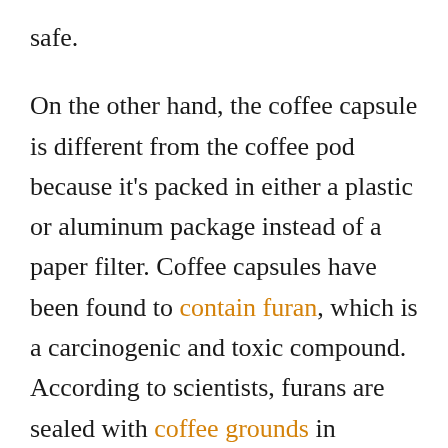safe.
On the other hand, the coffee capsule is different from the coffee pod because it’s packed in either a plastic or aluminum package instead of a paper filter. Coffee capsules have been found to contain furan, which is a carcinogenic and toxic compound. According to scientists, furans are sealed with coffee grounds in capsules, preventing them from escaping.
When coffee is brewed with hot pressurized water, the compounds are extracted into the drink.